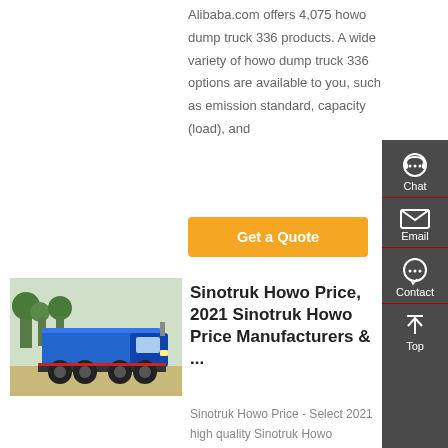Alibaba.com offers 4,075 howo dump truck 336 products. A wide variety of howo dump truck 336 options are available to you, such as emission standard, capacity (load), and
[Figure (other): Orange 'Get a Quote' button]
[Figure (photo): Blue Sinotruk Howo dump truck parked outdoors]
Sinotruk Howo Price, 2021 Sinotruk Howo Price Manufacturers & ...
Sinotruk Howo Price - Select 2021 high quality Sinotruk Howo
[Figure (infographic): Sidebar with Chat, Email, Contact, and Top navigation icons on dark grey background]